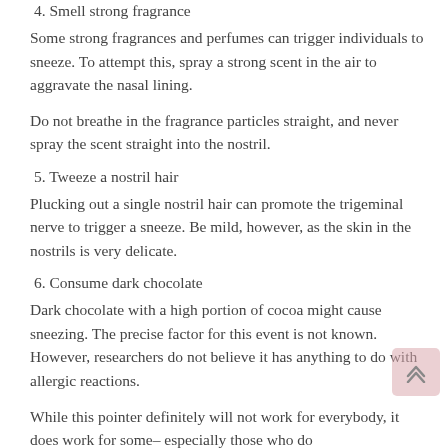4. Smell strong fragrance
Some strong fragrances and perfumes can trigger individuals to sneeze. To attempt this, spray a strong scent in the air to aggravate the nasal lining.
Do not breathe in the fragrance particles straight, and never spray the scent straight into the nostril.
5. Tweeze a nostril hair
Plucking out a single nostril hair can promote the trigeminal nerve to trigger a sneeze. Be mild, however, as the skin in the nostrils is very delicate.
6. Consume dark chocolate
Dark chocolate with a high portion of cocoa might cause sneezing. The precise factor for this event is not known. However, researchers do not believe it has anything to do with allergic reactions.
While this pointer definitely will not work for everybody, it does work for some– especially those who do